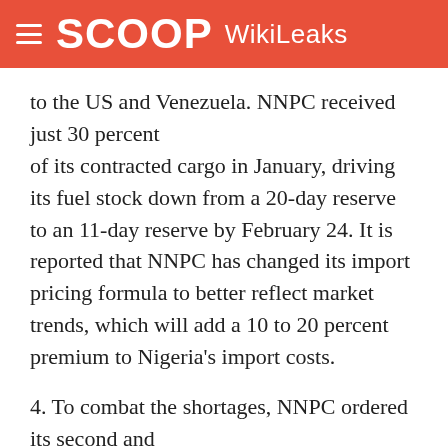SCOOP WikiLeaks
to the US and Venezuela. NNPC received just 30 percent of its contracted cargo in January, driving its fuel stock down from a 20-day reserve to an 11-day reserve by February 24. It is reported that NNPC has changed its import pricing formula to better reflect market trends, which will add a 10 to 20 percent premium to Nigeria's import costs.
4. To combat the shortages, NNPC ordered its second and third quarter shipments for delivery at the same time. The government also hopes to have its two refineries